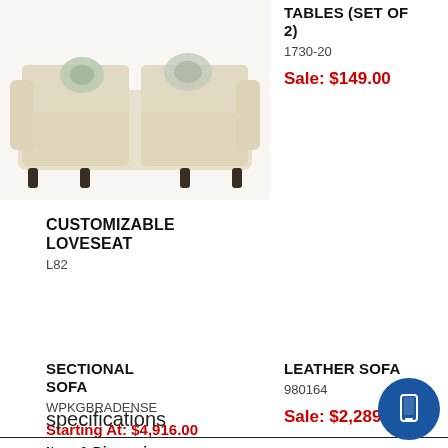[Figure (photo): Photo of a beige/cream customizable loveseat with decorative pillows, on a white background]
TABLES (SET OF 2)
1730-20
Sale: $149.00
CUSTOMIZABLE LOVESEAT
L82
SECTIONAL SOFA
WPKGBRADENSE
Starting At: $4,916.00
LEATHER SOFA
980164
Sale: $2,289.00
specifications
Item & Dimensions